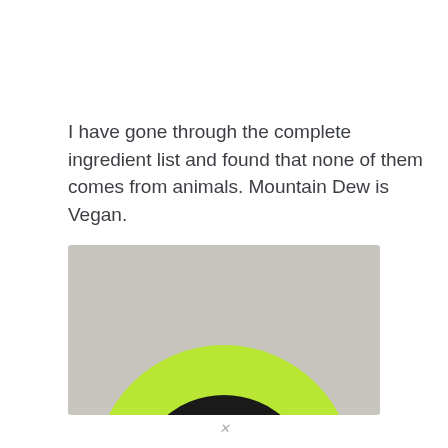I have gone through the complete ingredient list and found that none of them comes from animals. Mountain Dew is Vegan.
[Figure (photo): Close-up photograph showing the bottom portion of a Mountain Dew bottle cap — a bright neon yellow-green ring surrounding a dark black center, set against a pale gray background.]